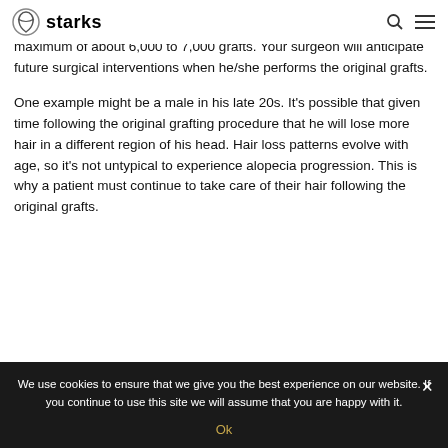starks [logo]
are possible in total. Over a person's life, it's possible to implant a maximum of about 6,000 to 7,000 grafts. Your surgeon will anticipate future surgical interventions when he/she performs the original grafts.
One example might be a male in his late 20s. It's possible that given time following the original grafting procedure that he will lose more hair in a different region of his head. Hair loss patterns evolve with age, so it's not untypical to experience alopecia progression. This is why a patient must continue to take care of their hair following the original grafts.
We use cookies to ensure that we give you the best experience on our website. If you continue to use this site we will assume that you are happy with it.
Ok